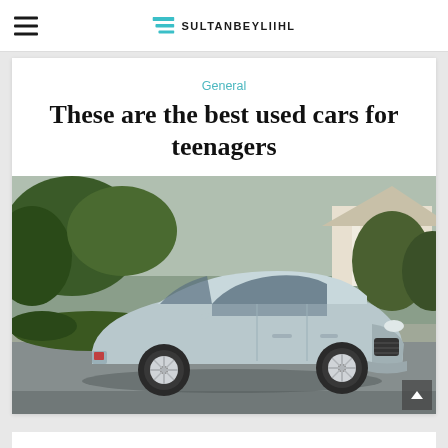SULTANBEYLIIHL
General
These are the best used cars for teenagers
[Figure (photo): A silver/light blue Ford C-Max hybrid car driving on a residential street with trees and a house in the background]